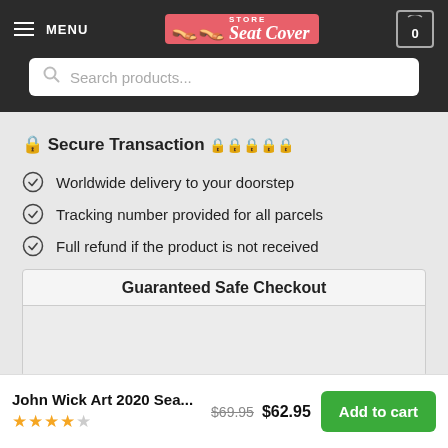MENU | Store Seat Cover | 0
Search products...
🔒 Secure Transaction 🔒🔒🔒🔒🔒
Worldwide delivery to your doorstep
Tracking number provided for all parcels
Full refund if the product is not received
Guaranteed Safe Checkout
John Wick Art 2020 Sea... $69.95 $62.95 Add to cart ★★★★☆